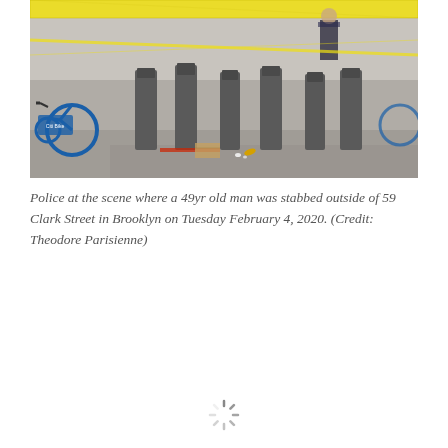[Figure (photo): Police crime scene photo showing Citi Bike docking station with yellow crime scene tape, empty bike docks, scattered items on the ground including what appears to be a shell casing, near a concrete wall. A police officer is visible in the background.]
Police at the scene where a 49yr old man was stabbed outside of 59 Clark Street in Brooklyn on Tuesday February 4, 2020. (Credit: Theodore Parisienne)
[Figure (other): Loading spinner icon at the bottom center of the page]